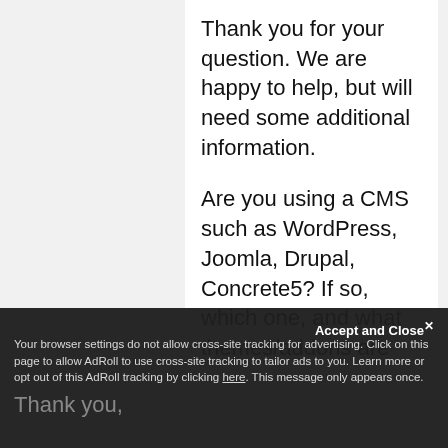Thank you for your question. We are happy to help, but will need some additional information.
Are you using a CMS such as WordPress, Joomla, Drupal, Concrete5? If so, which one, and what themes/addons are you using?
Can you provide a link to the site having problems? This will allow us to look at your specific site setup and menus.
If you have any further questions, feel free to post them below.
Thank you,
Accept and Close
Your browser settings do not allow cross-site tracking for advertising. Click on this page to allow AdRoll to use cross-site tracking to tailor ads to you. Learn more or opt out of this AdRoll tracking by clicking here. This message only appears once.